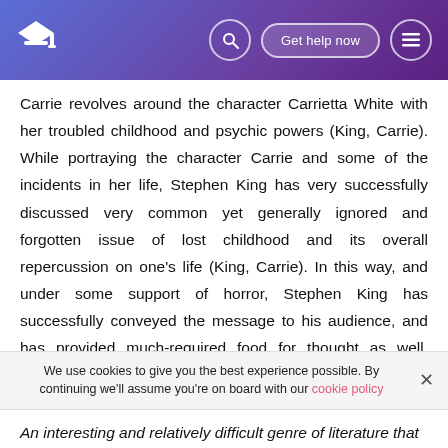Carrie revolves around the character Carrietta White with her troubled childhood and psychic powers (King, Carrie). While portraying the character Carrie and some of the incidents in her life, Stephen King has very successfully discussed very common yet generally ignored and forgotten issue of lost childhood and its overall repercussion on one’s life (King, Carrie). In this way, and under some support of horror, Stephen King has successfully conveyed the message to his audience, and has provided much-required food for thought as well. Moreover, this can also be termed as message-oriented writing and thus a substantial
We use cookies to give you the best experience possible. By continuing we'll assume you’re on board with our cookie policy
An interesting and relatively difficult genre of literature that